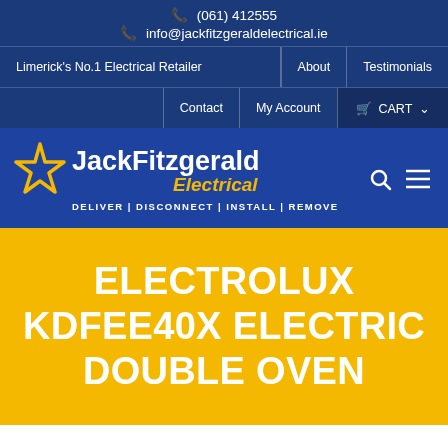(061) 412555 | info@jackfitzgeraldelectrical.ie
Limerick's No.1 Electrical Retailer | About | Testimonials | Contact | My Account | CART
[Figure (logo): Jack Fitzgerald Electrical logo with gold star, white text reading Jack Fitzgerald Electrical, and tagline DELIVER | DISCONNECT | INSTALL | REMOVE. Search and menu icons to the right.]
ELECTROLUX KDFEE40X ELECTRIC DOUBLE OVEN